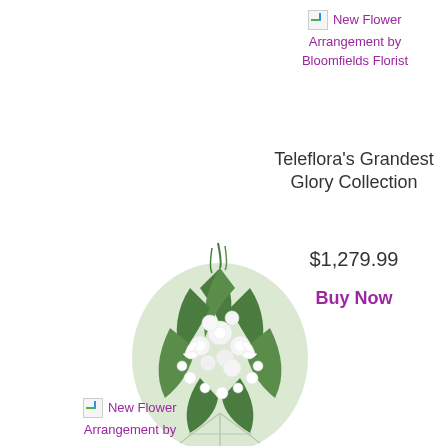[Figure (photo): Broken image placeholder with alt text: New Flower Arrangement by Bloomfields Florist]
Teleflora's Grandest Glory Collection
$1,279.99
Buy Now
[Figure (photo): Flower arrangement on easel stand: large white floral spray with white roses, lilies, orchids, and greenery on a silver easel stand]
[Figure (photo): Broken image placeholder with alt text: New Flower Arrangement by]